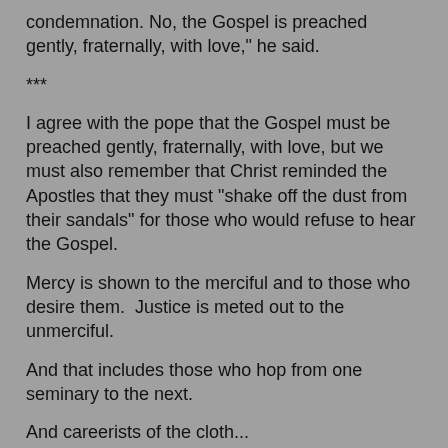condemnation. No, the Gospel is preached gently, fraternally, with love," he said.
***
I agree with the pope that the Gospel must be preached gently, fraternally, with love, but we must also remember that Christ reminded the Apostles that they must "shake off the dust from their sandals" for those who would refuse to hear the Gospel.
Mercy is shown to the merciful and to those who desire them.  Justice is meted out to the unmerciful.
And that includes those who hop from one seminary to the next.
And careerists of the cloth...
I have tons of stories about monsignori and how they got their titles.